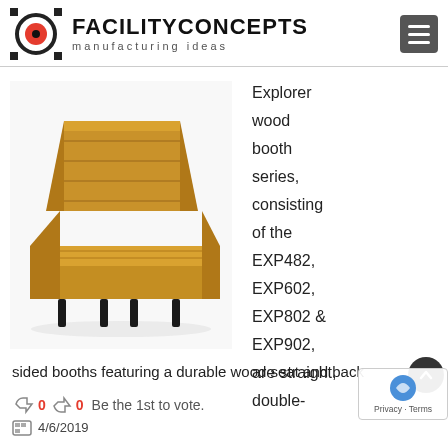FACILITY CONCEPTS manufacturing ideas
[Figure (photo): Explorer wood booth - a double-sided wooden booth with horizontal plank back and seat, black metal legs]
Explorer wood booth series, consisting of the EXP482, EXP602, EXP802 & EXP902, are straight, double-sided booths featuring a durable wood seat and back
0  0  Be the 1st to vote.
4/6/2019